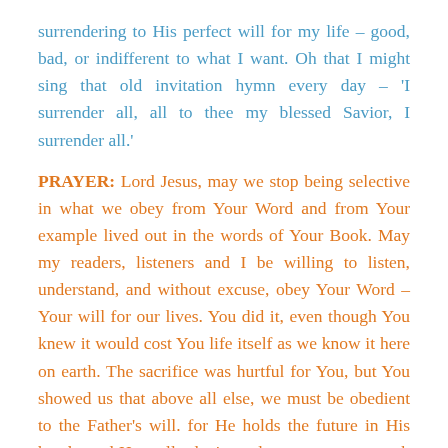surrendering to His perfect will for my life – good, bad, or indifferent to what I want. Oh that I might sing that old invitation hymn every day – 'I surrender all, all to thee my blessed Savior, I surrender all.'
PRAYER: Lord Jesus, may we stop being selective in what we obey from Your Word and from Your example lived out in the words of Your Book. May my readers, listeners and I be willing to listen, understand, and without excuse, obey Your Word – Your will for our lives. You did it, even though You knew it would cost You life itself as we know it here on earth. The sacrifice was hurtful for You, but You showed us that above all else, we must be obedient to the Father's will. for He holds the future in His hands, and He really don't need our two cents worth of suggestions